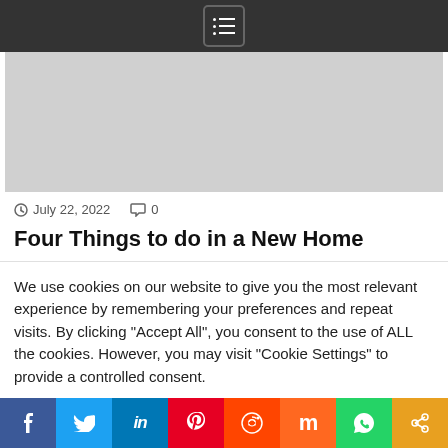Navigation menu bar
[Figure (photo): Light gray placeholder hero image area]
July 22, 2022   0
Four Things to do in a New Home
We use cookies on our website to give you the most relevant experience by remembering your preferences and repeat visits. By clicking "Accept All", you consent to the use of ALL the cookies. However, you may visit "Cookie Settings" to provide a controlled consent.
Cookie Settings   Accept All
f  Twitter  in  Pinterest  Reddit  Mix  WhatsApp  Share